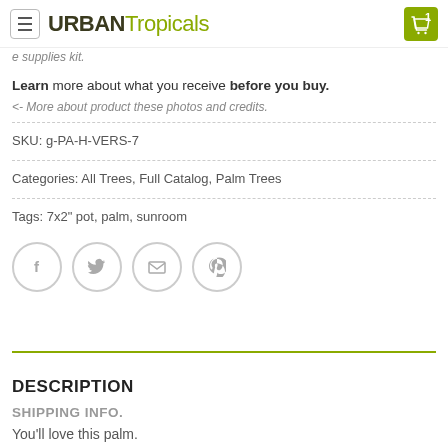URBAN Tropicals
e supplies kit.
Learn more about what you receive before you buy.
<- More about product these photos and credits.
SKU: g-PA-H-VERS-7
Categories: All Trees, Full Catalog, Palm Trees
Tags: 7x2" pot, palm, sunroom
[Figure (illustration): Social share icons: Facebook, Twitter, Email, Pinterest]
DESCRIPTION
SHIPPING INFO.
You'll love this palm.